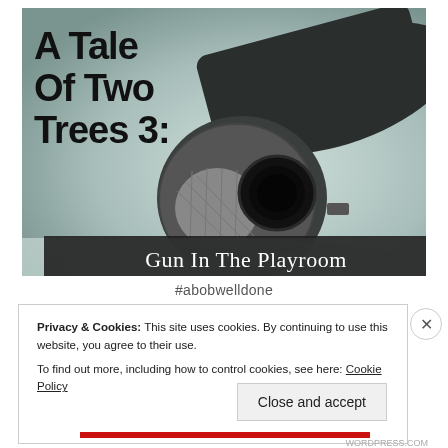[Figure (photo): Close-up photo of the muzzle end of a handgun on a light background, with bold black text overlay reading 'A Tale Of Two Trees 3:' and a dark banner below reading 'Gun In The Playroom']
A Tale Of Two Trees 3: Gun In The Playroom
#abobwelldone
Privacy & Cookies: This site uses cookies. By continuing to use this website, you agree to their use. To find out more, including how to control cookies, see here: Cookie Policy
Close and accept